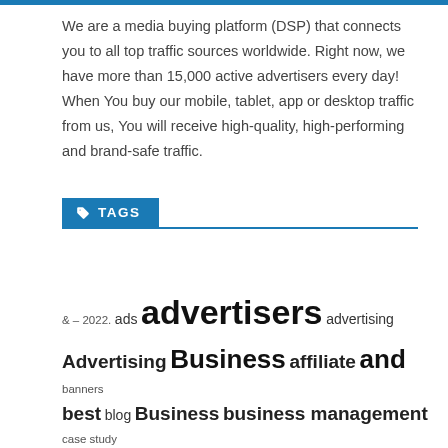We are a media buying platform (DSP) that connects you to all top traffic sources worldwide. Right now, we have more than 15,000 active advertisers every day! When You buy our mobile, tablet, app or desktop traffic from us, You will receive high-quality, high-performing and brand-safe traffic.
TAGS
& – 2022. ads advertisers advertising Advertising Business affiliate and banners best blog Business business management case study digital ecommerce for google how make marketing marketing news marketing strategies marketing trends media money native network online online business online marketing review search engine marketing SEO Social Media Advetising the tips